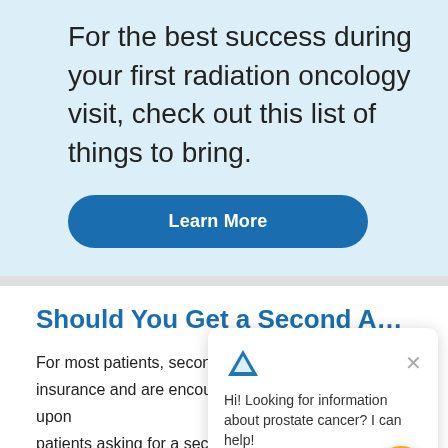For the best success during your first radiation oncology visit, check out this list of things to bring.
Learn More
Should You Get a Second Opinion?
For most patients, second opinions are covered by insurance and are encouraged. We never frown upon patients asking for a second opinion about a prostate cancer diagnosis and treatment plan that we pre... We also welcome patients who would like one of our
Hi! Looking for information about prostate cancer? I can help!